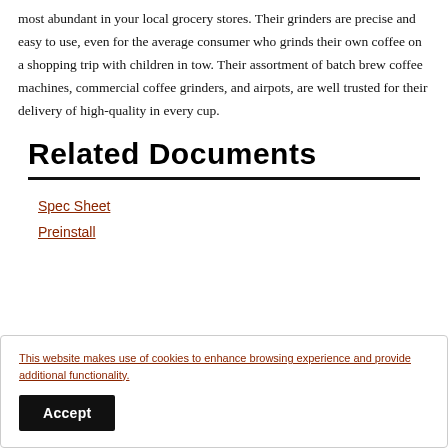most abundant in your local grocery stores. Their grinders are precise and easy to use, even for the average consumer who grinds their own coffee on a shopping trip with children in tow. Their assortment of batch brew coffee machines, commercial coffee grinders, and airpots, are well trusted for their delivery of high-quality in every cup.
Related Documents
Spec Sheet
Preinstall
This website makes use of cookies to enhance browsing experience and provide additional functionality.